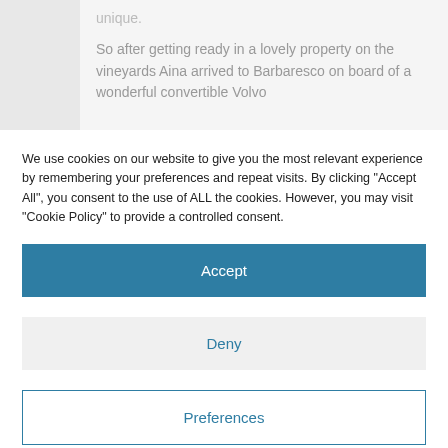unique.
So after getting ready in a lovely property on the vineyards Aina arrived to Barbaresco on board of a wonderful convertible Volvo
We use cookies on our website to give you the most relevant experience by remembering your preferences and repeat visits. By clicking "Accept All", you consent to the use of ALL the cookies. However, you may visit "Cookie Policy" to provide a controlled consent.
Accept
Deny
Preferences
Cookie Policy   Privacy Policy